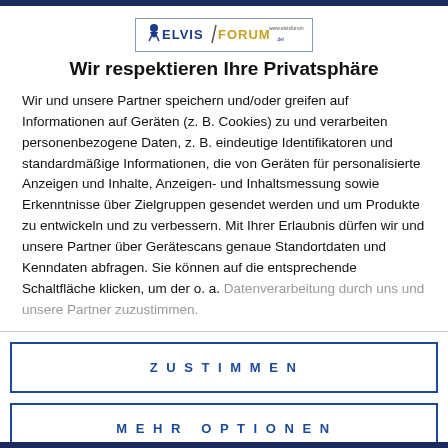[Figure (logo): Elvis Forum website logo with silhouette figure, blue and gold text reading ELVIS FORUM]
Wir respektieren Ihre Privatsphäre
Wir und unsere Partner speichern und/oder greifen auf Informationen auf Geräten (z. B. Cookies) zu und verarbeiten personenbezogene Daten, z. B. eindeutige Identifikatoren und standardmäßige Informationen, die von Geräten für personalisierte Anzeigen und Inhalte, Anzeigen- und Inhaltsmessung sowie Erkenntnisse über Zielgruppen gesendet werden und um Produkte zu entwickeln und zu verbessern. Mit Ihrer Erlaubnis dürfen wir und unsere Partner über Gerätescans genaue Standortdaten und Kenndaten abfragen. Sie können auf die entsprechende Schaltfläche klicken, um der o. a. Datenverarbeitung durch uns und unsere Partner zuzustimmen.
ZUSTIMMEN
MEHR OPTIONEN